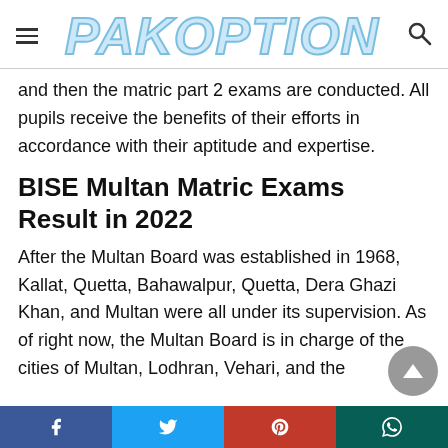PAKOPTION
and then the matric part 2 exams are conducted. All pupils receive the benefits of their efforts in accordance with their aptitude and expertise.
BISE Multan Matric Exams Result in 2022
After the Multan Board was established in 1968, Kallat, Quetta, Bahawalpur, Quetta, Dera Ghazi Khan, and Multan were all under its supervision. As of right now, the Multan Board is in charge of the cities of Multan, Lodhran, Vehari, and the
Facebook | Twitter | Pinterest | WhatsApp